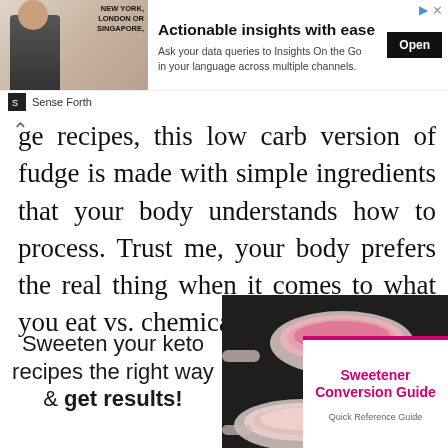[Figure (other): Advertisement banner: 'Actionable insights with ease' - Sense Forth ad with photo of businessman and Open button]
ge recipes, this low carb version of fudge is made with simple ingredients that your body understands how to process. Trust me, your body prefers the real thing when it comes to what you eat vs. chemicals made in a lab.
Sweeten your keto recipes the right way & get results!
[Figure (illustration): Spoons with pink/red sweetener powder on a dark background, with a Sweetener Conversion Guide overlay card showing 'Quick Reference Guide']